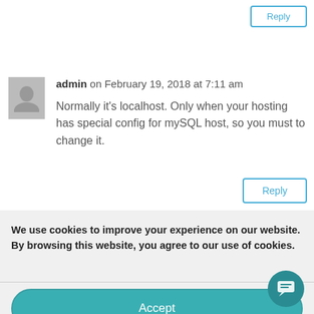Reply
admin on February 19, 2018 at 7:11 am
Normally it's localhost. Only when your hosting has special config for mySQL host, so you must to change it.
Reply
We use cookies to improve your experience on our website. By browsing this website, you agree to our use of cookies.
Accept
Cookie Policy